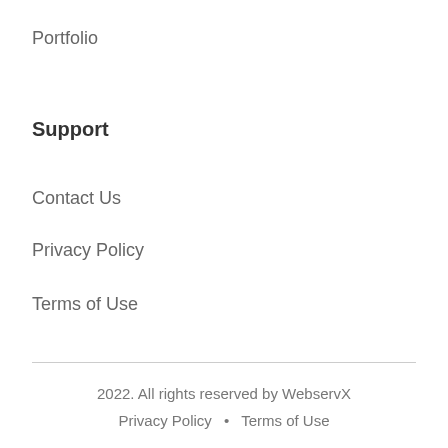Portfolio
Support
Contact Us
Privacy Policy
Terms of Use
2022. All rights reserved by WebservX
Privacy Policy • Terms of Use